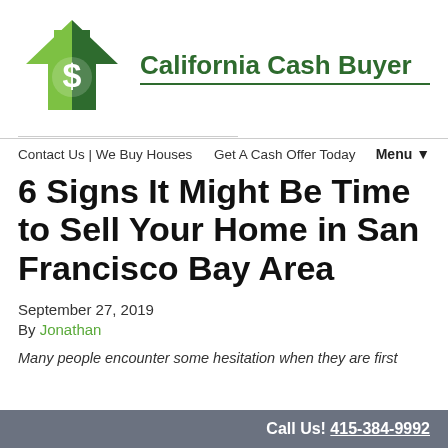[Figure (logo): California Cash Buyer logo — a green house silhouette with a dollar sign, next to the text 'California Cash Buyer' in dark green bold font with a green underline]
Contact Us | We Buy Houses    Get A Cash Offer Today    Menu▼
6 Signs It Might Be Time to Sell Your Home in San Francisco Bay Area
September 27, 2019
By Jonathan
Many people encounter some hesitation when they are first
Call Us! 415-384-9992